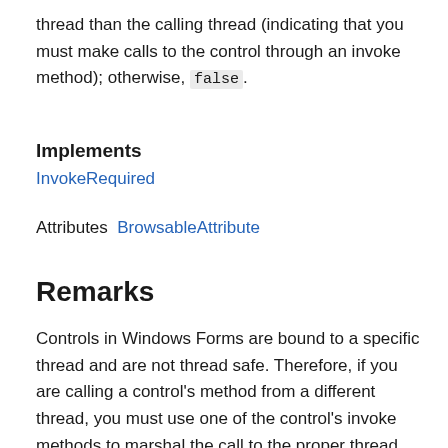thread than the calling thread (indicating that you must make calls to the control through an invoke method); otherwise, false.
Implements
InvokeRequired
Attributes  BrowsableAttribute
Remarks
Controls in Windows Forms are bound to a specific thread and are not thread safe. Therefore, if you are calling a control's method from a different thread, you must use one of the control's invoke methods to marshal the call to the proper thread. This property can be used to determine if